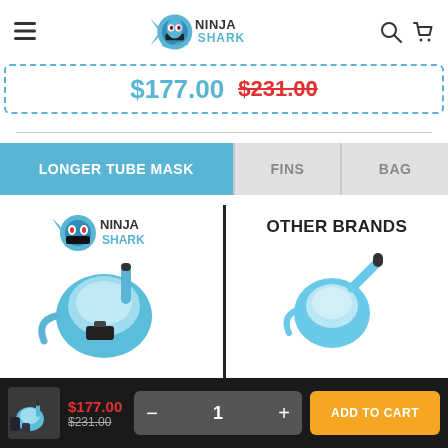Ninja Shark - Navigation header with logo, hamburger menu, search, and cart icons
$177.00  $231.00
LONGER TUBE MASK  |  FINS  |  BAG
[Figure (photo): Ninja Shark full-face snorkel mask product image (blue) with camera mount]
[Figure (photo): Other brands snorkel mask/product (blue) shown for comparison]
$177.00  $231.00  1  ADD TO CART